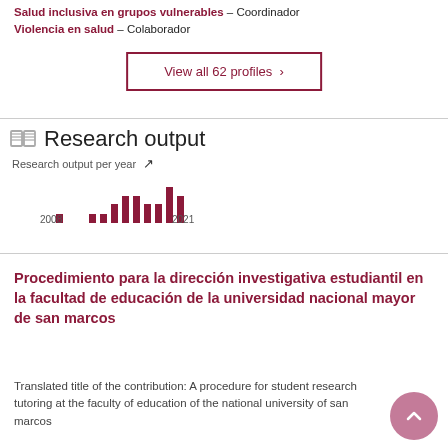Salud inclusiva en grupos vulnerables - Coordinador
Violencia en salud - Colaborador
View all 62 profiles >
Research output
Research output per year
[Figure (bar-chart): Research output per year]
Procedimiento para la dirección investigativa estudiantil en la facultad de educación de la universidad nacional mayor de san marcos
Translated title of the contribution: A procedure for student research tutoring at the faculty of education of the national university of san marcos